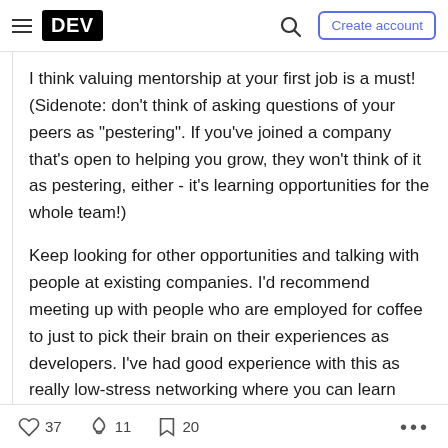DEV — Create account
I think valuing mentorship at your first job is a must! (Sidenote: don't think of asking questions of your peers as "pestering". If you've joined a company that's open to helping you grow, they won't think of it as pestering, either - it's learning opportunities for the whole team!)
Keep looking for other opportunities and talking with people at existing companies. I'd recommend meeting up with people who are employed for coffee to just to pick their brain on their experiences as developers. I've had good experience with this as really low-stress networking where you can learn about good
♡ 37   ≋ 11   □ 20   ...